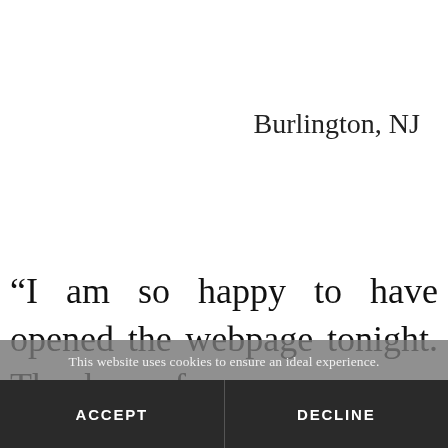Burlington, NJ
“I am so happy to have opened the webpage tonight. Thank you for
This website uses cookies to ensure an ideal experience.
ACCEPT
DECLINE